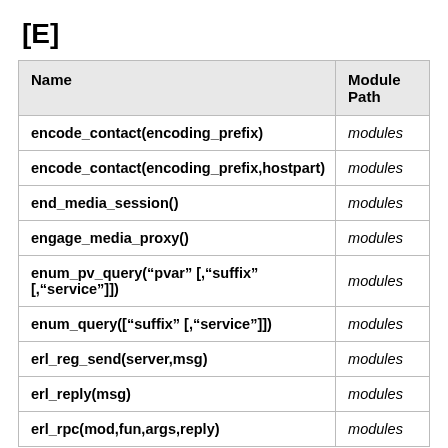[E]
| Name | Module Path |
| --- | --- |
| encode_contact(encoding_prefix) | modules |
| encode_contact(encoding_prefix,hostpart) | modules |
| end_media_session() | modules |
| engage_media_proxy() | modules |
| enum_pv_query(“pvar” [,“suffix” [,“service”]]) | modules |
| enum_query([“suffix” [,“service”]]) | modules |
| erl_reg_send(server,msg) | modules |
| erl_reply(msg) | modules |
| erl_rpc(mod,fun,args,reply) | modules |